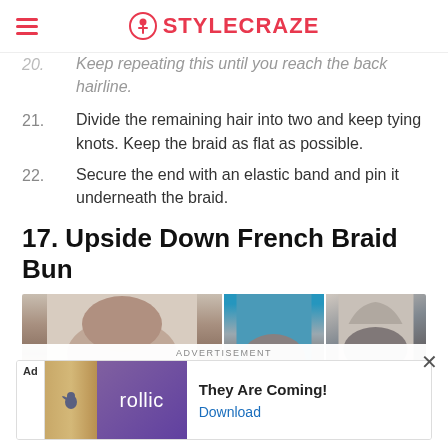STYLECRAZE
20. Keep repeating this until you reach the back hairline.
21. Divide the remaining hair into two and keep tying knots. Keep the braid as flat as possible.
22. Secure the end with an elastic band and pin it underneath the braid.
17. Upside Down French Braid Bun
[Figure (photo): Three photos showing steps of an upside down French braid bun hairstyle tutorial]
ADVERTISEMENT
[Figure (screenshot): Advertisement banner for rollic app with text 'They Are Coming!' and Download button]